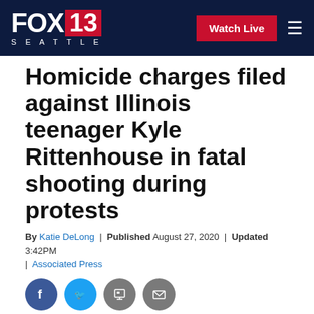FOX 13 SEATTLE | Watch Live
Homicide charges filed against Illinois teenager Kyle Rittenhouse in fatal shooting during protests
By Katie DeLong | Published August 27, 2020 | Updated 3:42PM | Associated Press
[Figure (photo): News photo with overlay text: Homicide charges filed against Illinois teenager Kyle Rittenhouse in fatal shooting during protests]
Homicide charges filed against Illinois teenager Kyle Rittenhouse in fatal shooting during protests